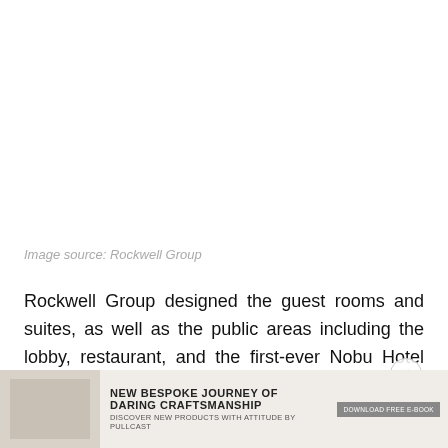[Figure (photo): White/blank image area at top of page, image content not visible]
Image source: Rockwell Group
Rockwell Group designed the guest rooms and suites, as well as the public areas including the lobby, restaurant, and the first-ever Nobu Hotel Pool and Lounge. Nobu Hotel merges Eden Roc's iconic Miami Modern architecture with
[Figure (photo): Advertisement banner at bottom: NEW BESPOKE JOURNEY OF DARING CRAFTSMANSHIP — DISCOVER NEW PRODUCTS WITH ATTITUDE BY PULLCAST — with download button and product imagery]